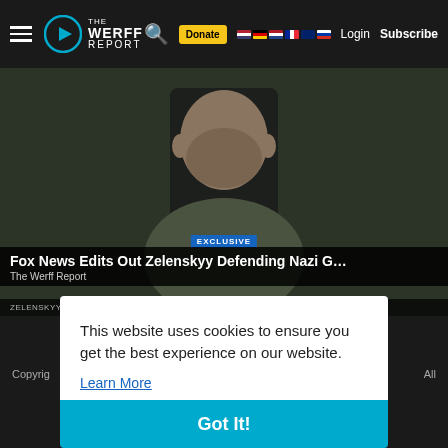The Werff Report — Navigation bar with logo, search, Donate, Login, Subscribe
[Figure (screenshot): Video thumbnail showing a man in military-style olive green shirt seated in front of a dark background with chair. Lower-thirds overlay reads EXCLUSIVE, then 'Fox News Edits Out Zelenskyy Defending Nazi G…' with subtext 'The Werff Report' and 'ZELENSKYY DISCUSSES HIS FIGHT FOR UKRAINE / BREAKING TONIGHT']
This website uses cookies to ensure you get the best experience on our website.
Learn More
Copyrig … All
Got It!